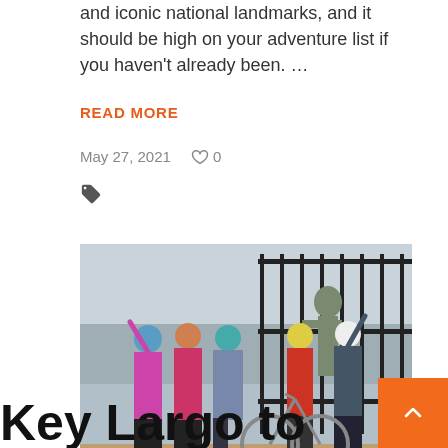and iconic national landmarks, and it should be high on your adventure list if you haven't already been. ...
READ MORE
May 27, 2021   ♡0
[Figure (photo): Five cyclists in helmets and cycling gear posing in front of a metal fence with a statue, arms raised, with bicycles nearby.]
Key Largo to